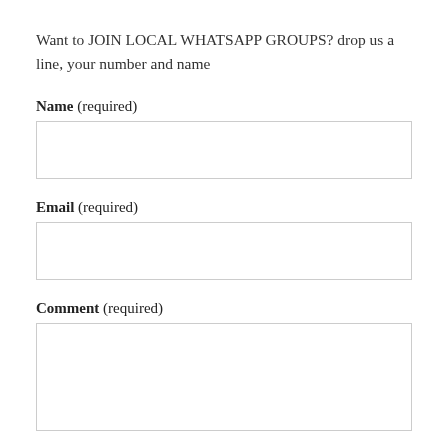Want to JOIN LOCAL WHATSAPP GROUPS? drop us a line, your number and name
Name (required)
Email (required)
Comment (required)